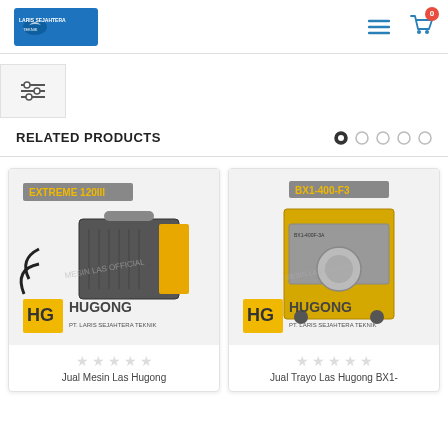[Figure (screenshot): E-commerce website header with logo 'Laris Sejahtera', hamburger menu icon, and shopping cart icon with badge showing 0]
[Figure (other): Filter/sort icon button on left side]
RELATED PRODUCTS
[Figure (other): Pagination dots - first dot filled, four empty dots]
[Figure (photo): Product card 1: Hugong Extreme 120III welding machine with HG Hugong PT. Laris Sejahtera Teknik branding, 5 empty star rating, text 'Jual Mesin Las Hugong']
[Figure (photo): Product card 2: Hugong BX1-400-F3 welding transformer with HG Hugong PT. Laris Sejahtera Teknik branding, 5 empty star rating, text 'Jual Travo Las Hugong BX1-']